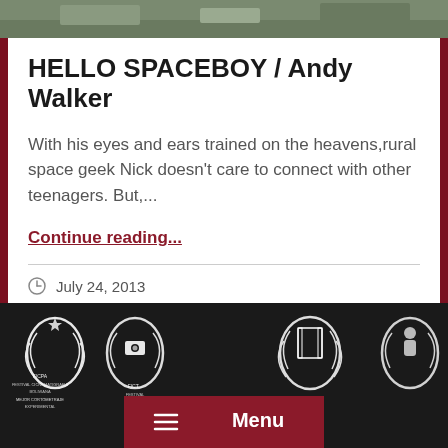[Figure (photo): Top portion of a photo showing what appears to be an outdoor scene with grass/field, partially cropped]
HELLO SPACEBOY / Andy Walker
With his eyes and ears trained on the heavens,rural space geek Nick doesn't care to connect with other teenagers. But,...
Continue reading...
July 24, 2013
[Figure (photo): Black and white collage of film festival laurel wreaths and awards imagery with a dark red Menu bar overlay at the bottom center]